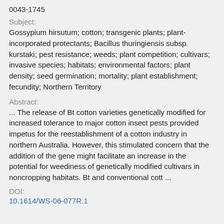0043-1745
Subject:
Gossypium hirsutum; cotton; transgenic plants; plant-incorporated protectants; Bacillus thuringiensis subsp. kurstaki; pest resistance; weeds; plant competition; cultivars; invasive species; habitats; environmental factors; plant density; seed germination; mortality; plant establishment; fecundity; Northern Territory
Abstract:
... The release of Bt cotton varieties genetically modified for increased tolerance to major cotton insect pests provided impetus for the reestablishment of a cotton industry in northern Australia. However, this stimulated concern that the addition of the gene might facilitate an increase in the potential for weediness of genetically modified cultivars in noncropping habitats. Bt and conventional cott ...
DOI:
10.1614/WS-06-077R.1